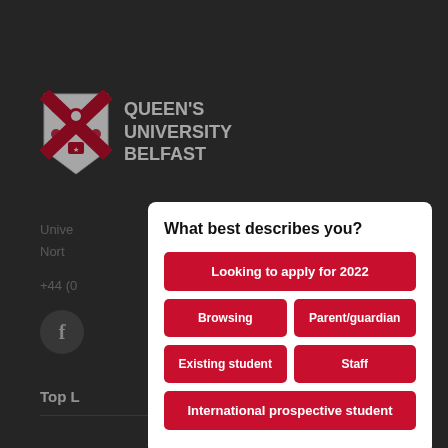[Figure (logo): Queen's University Belfast shield logo with red cross and figures on white background]
QUEEN'S UNIVERSITY BELFAST
Unive...
North...
+44 (0...
Top L...
What best describes you?
Looking to apply for 2022
Browsing
Parent/guardian
Existing student
Staff
International prospective student